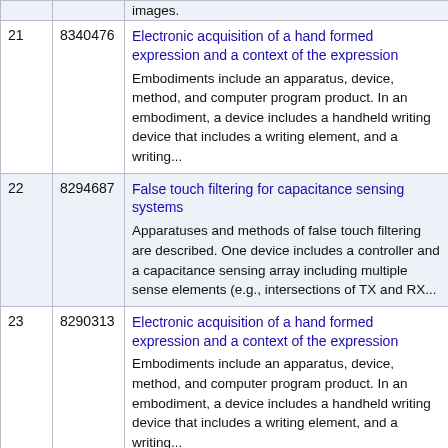| # | Patent | Title / Description |
| --- | --- | --- |
| 21 | 8340476 | Electronic acquisition of a hand formed expression and a context of the expression
Embodiments include an apparatus, device, method, and computer program product. In an embodiment, a device includes a handheld writing device that includes a writing element, and a writing... |
| 22 | 8294687 | False touch filtering for capacitance sensing systems
Apparatuses and methods of false touch filtering are described. One device includes a controller and a capacitance sensing array including multiple sense elements (e.g., intersections of TX and RX... |
| 23 | 8290313 | Electronic acquisition of a hand formed expression and a context of the expression
Embodiments include an apparatus, device, method, and computer program product. In an embodiment, a device includes a handheld writing device that includes a writing element, and a writing... |